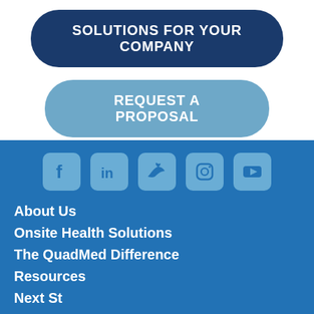SOLUTIONS FOR YOUR COMPANY
REQUEST A PROPOSAL
[Figure (infographic): Social media icons: Facebook, LinkedIn, Twitter, Instagram, YouTube]
About Us
Onsite Health Solutions
The QuadMed Difference
Resources
Next St... (partially visible)